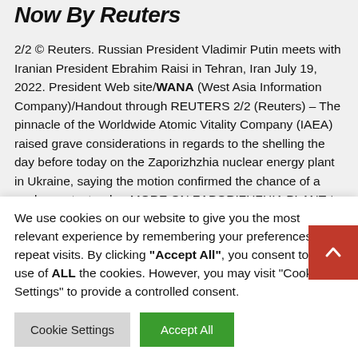Now By Reuters
2/2 © Reuters. Russian President Vladimir Putin meets with Iranian President Ebrahim Raisi in Tehran, Iran July 19, 2022. President Web site/WANA (West Asia Information Company)/Handout through REUTERS 2/2 (Reuters) – The pinnacle of the Worldwide Atomic Vitality Company (IAEA) raised grave considerations in regards to the shelling the day before today on the Zaporizhzhia nuclear energy plant in Ukraine, saying the motion confirmed the chance of a nuclear catastrophe. MORE ON ZAPORIZHZHIA PLANT * Ukraine's Prosecutor Normal's workplace stated it had began prison
We use cookies on our website to give you the most relevant experience by remembering your preferences and repeat visits. By clicking "Accept All", you consent to the use of ALL the cookies. However, you may visit "Cookie Settings" to provide a controlled consent.